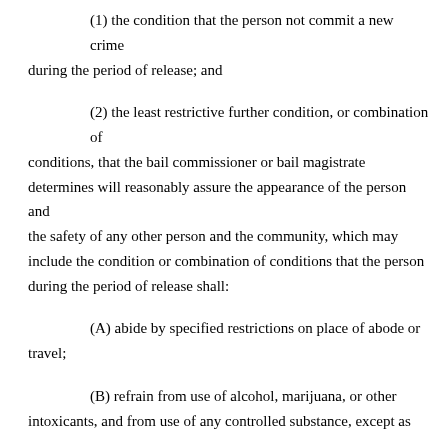(1) the condition that the person not commit a new crime during the period of release; and
(2) the least restrictive further condition, or combination of conditions, that the bail commissioner or bail magistrate determines will reasonably assure the appearance of the person and the safety of any other person and the community, which may include the condition or combination of conditions that the person during the period of release shall:
(A)  abide by specified restrictions on place of abode or travel;
(B)  refrain from use of alcohol, marijuana, or other intoxicants, and from use of any controlled substance, except as